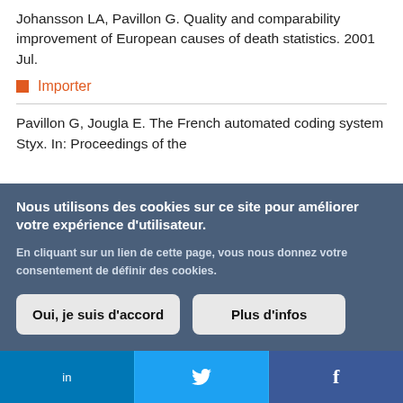Johansson LA, Pavillon G. Quality and comparability improvement of European causes of death statistics. 2001 Jul.
Importer
Pavillon G, Jougla E. The French automated coding system Styx. In: Proceedings of the
Nous utilisons des cookies sur ce site pour améliorer votre expérience d'utilisateur.
En cliquant sur un lien de cette page, vous nous donnez votre consentement de définir des cookies.
Oui, je suis d'accord
Plus d'infos
in  f